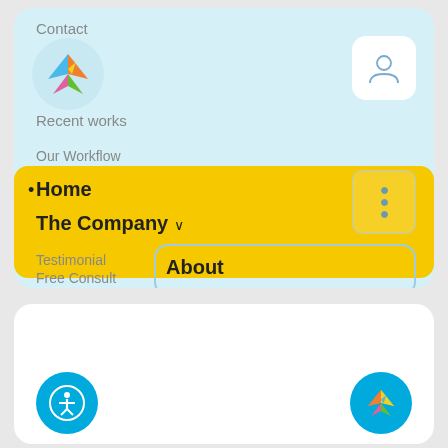Contact
[Figure (logo): Colorful bird/pinwheel logo in a circle]
Recent works
[Figure (illustration): User/person icon in a white rounded square button]
Our Workflow
Home
The Company
[Figure (illustration): Three dots vertical menu button]
Testimonial
About
Free Consult
Website Services
Creative
Media
Strategy
[Figure (illustration): Blue circular accessibility button with person-in-circle icon]
[Figure (logo): Colorful bird/pinwheel logo in blue circle]